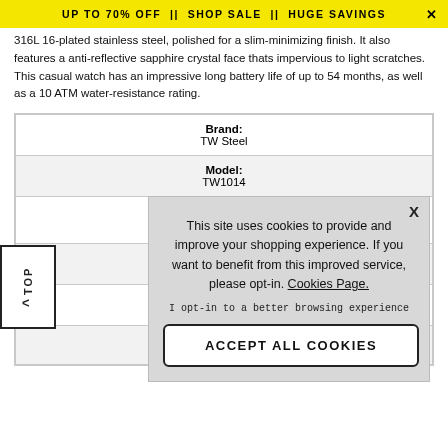UP TO 70% OFF || SHOP SALE || HUGE SAVINGS
316L 16-plated stainless steel, polished for a slim-minimizing finish. It also features a anti-reflective sapphire crystal face thats impervious to light scratches. This casual watch has an impressive long battery life of up to 54 months, as well as a 10 ATM water-resistance rating.
| Brand: | TW Steel |
| Model: | TW1014 |
This site uses cookies to provide and improve your shopping experience. If you want to benefit from this improved service, please opt-in. Cookies Page.
I opt-in to a better browsing experience
ACCEPT ALL COOKIES